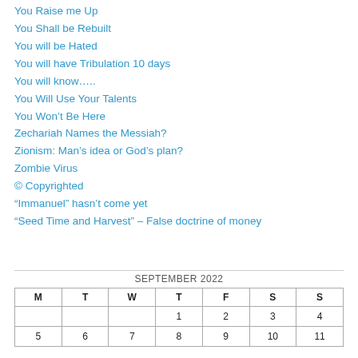You Raise me Up
You Shall be Rebuilt
You will be Hated
You will have Tribulation 10 days
You will know…..
You Will Use Your Talents
You Won't Be Here
Zechariah Names the Messiah?
Zionism: Man's idea or God's plan?
Zombie Virus
© Copyrighted
“Immanuel” hasn’t come yet
“Seed Time and Harvest” – False doctrine of money
SEPTEMBER 2022
| M | T | W | T | F | S | S |
| --- | --- | --- | --- | --- | --- | --- |
|  |  |  | 1 | 2 | 3 | 4 |
| 5 | 6 | 7 | 8 | 9 | 10 | 11 |